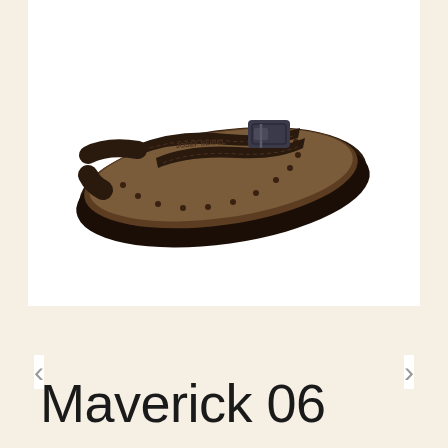[Figure (photo): Main product image of a dark brown leather sandal with two straps and a buckle, viewed from the side/top angle on white background]
[Figure (photo): Thumbnail 1 (selected, with border): Dark brown sandal viewed from top-front angle showing two straps]
[Figure (photo): Thumbnail 2: Dark brown sandal viewed from side/heel angle]
[Figure (photo): Thumbnail 3: Dark brown sandal viewed from sole/bottom angle]
Maverick 06